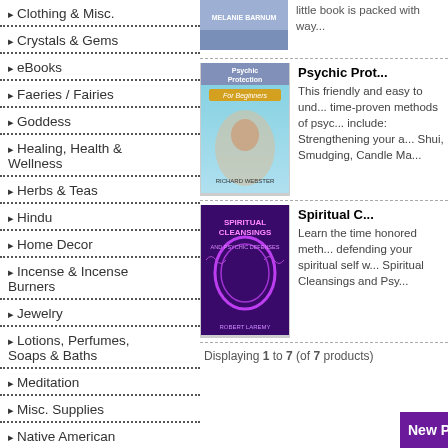Clothing & Misc.
Crystals & Gems
eBooks
Faeries / Fairies
Goddess
Healing, Health & Wellness
Herbs & Teas
Hindu
Home Decor
Incense & Incense Burners
Jewelry
Lotions, Perfumes, Soaps & Baths
Meditation
Misc. Supplies
Native American
[Figure (photo): Book cover: Psychic Protection For Beginners by Richard Webster - shows a woman holding a baby outdoors]
Psychic Prot...
This friendly and easy to understand guide introduces time-proven methods of psychic protection. Topics include: Strengthening your aura, Crystals, Feng Shui, Smudging, Candle Ma...
[Figure (photo): Book cover: Spiritual Cleansings and Psychic Defenses by Robert Laremy - purple background with glowing oval]
Spiritual C...
Learn the time honored methods of cleansing and defending your spiritual self with... Spiritual Cleansings and Psy...
Displaying 1 to 7 (of 7 products)
New Products For August - Book...